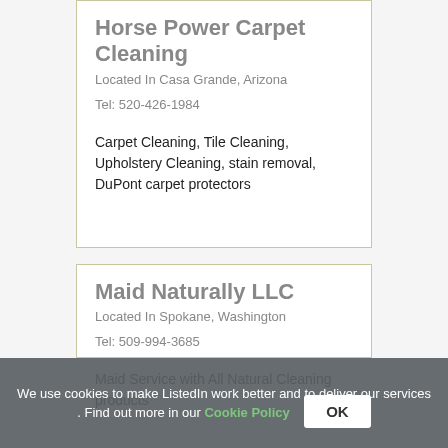Horse Power Carpet Cleaning
Located In Casa Grande, Arizona
Tel: 520-426-1984
Carpet Cleaning, Tile Cleaning, Upholstery Cleaning, stain removal, DuPont carpet protectors
Maid Naturally LLC
Located In Spokane, Washington
Tel: 509-994-3685
Maid Service with All Natural Cleaning products
We use cookies to make ListedIn work better and to deliver our services . Find out more in our Cookie Policy OK